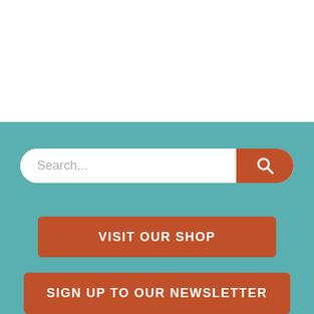[Figure (screenshot): White blank area at top of page, approximately half the page height]
[Figure (screenshot): Teal background section with a search bar (white rounded rectangle with orange/rust search button on right showing magnifying glass icon), followed by two orange/rust rectangular buttons: 'VISIT OUR SHOP' and 'SIGN UP TO OUR NEWSLETTER']